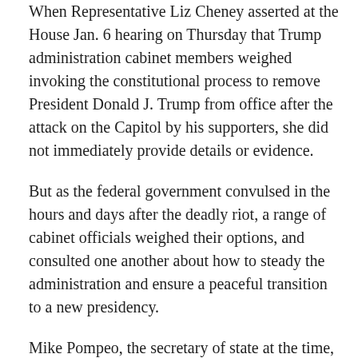When Representative Liz Cheney asserted at the House Jan. 6 hearing on Thursday that Trump administration cabinet members weighed invoking the constitutional process to remove President Donald J. Trump from office after the attack on the Capitol by his supporters, she did not immediately provide details or evidence.
But as the federal government convulsed in the hours and days after the deadly riot, a range of cabinet officials weighed their options, and consulted one another about how to steady the administration and ensure a peaceful transition to a new presidency.
Mike Pompeo, the secretary of state at the time, and Steven Mnuchin, then the Treasury